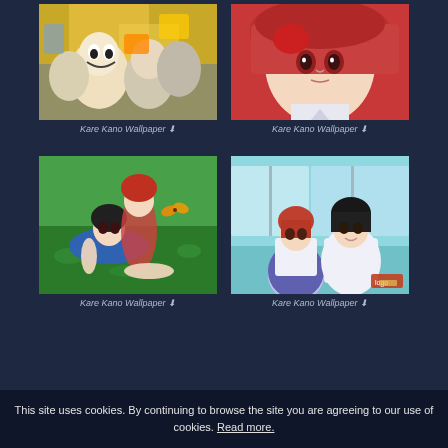[Figure (illustration): Anime cartoon group scene with laughing/excited characters in chaotic setting with yellow and colorful background - Kare Kano wallpaper]
Kare Kano Wallpaper ↓
[Figure (illustration): Anime girl with red hair against pink/red background - Kare Kano wallpaper]
Kare Kano Wallpaper ↓
[Figure (illustration): Anime couple lying on green grass looking up - Kare Kano wallpaper]
Kare Kano Wallpaper ↓
[Figure (illustration): Anime couple standing in school setting indoors - Kare Kano wallpaper]
Kare Kano Wallpaper ↓
This site uses cookies. By continuing to browse the site you are agreeing to our use of cookies. Read more.